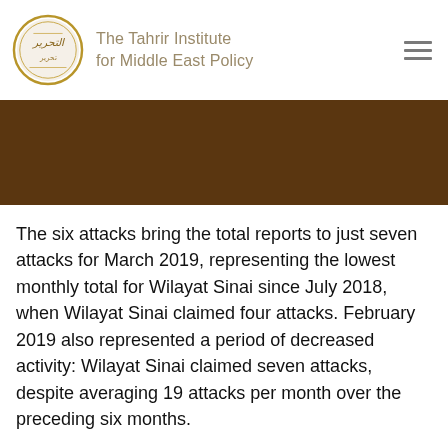The Tahrir Institute for Middle East Policy
The six attacks bring the total reports to just seven attacks for March 2019, representing the lowest monthly total for Wilayat Sinai since July 2018, when Wilayat Sinai claimed four attacks. February 2019 also represented a period of decreased activity: Wilayat Sinai claimed seven attacks, despite averaging 19 attacks per month over the preceding six months.